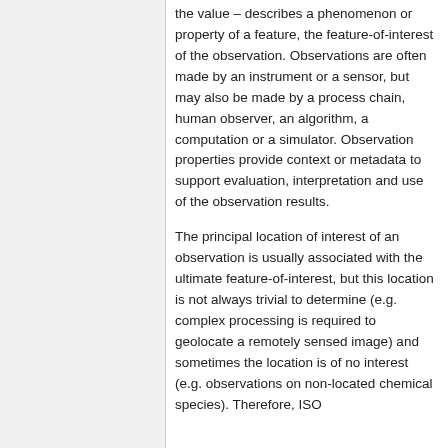the value – describes a phenomenon or property of a feature, the feature-of-interest of the observation. Observations are often made by an instrument or a sensor, but may also be made by a process chain, human observer, an algorithm, a computation or a simulator. Observation properties provide context or metadata to support evaluation, interpretation and use of the observation results.
The principal location of interest of an observation is usually associated with the ultimate feature-of-interest, but this location is not always trivial to determine (e.g. complex processing is required to geolocate a remotely sensed image) and sometimes the location is of no interest (e.g. observations on non-located chemical species). Therefore, ISO